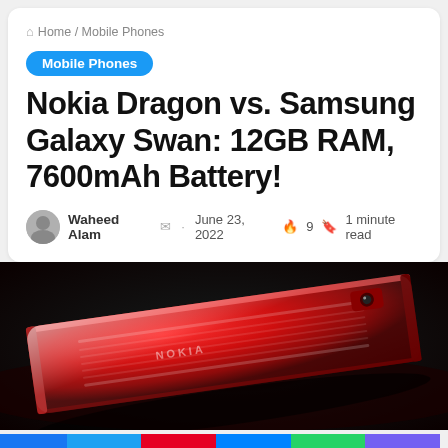Home / Mobile Phones
Mobile Phones
Nokia Dragon vs. Samsung Galaxy Swan: 12GB RAM, 7600mAh Battery!
Waheed Alam · June 23, 2022 · 9 · 1 minute read
[Figure (photo): A red glossy smartphone (Nokia Dragon) lying flat on a dark reflective surface, photographed from a low angle showing the top edge and rear panel with white text/branding.]
[Figure (infographic): Social share bar with six buttons: Facebook (blue), Twitter (blue), Pinterest (red), Messenger (blue), WhatsApp (green), Viber (purple).]